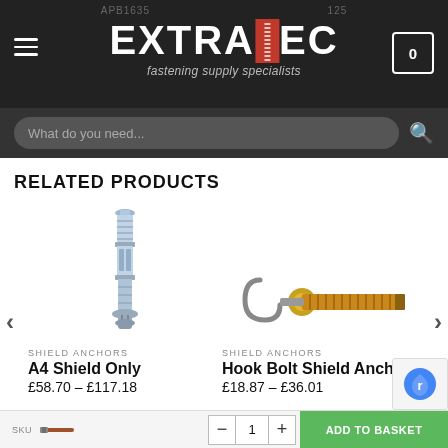EXTRATEC - fastening supply specialists
RELATED PRODUCTS
[Figure (photo): A4 Shield anchor bolt, cylindrical zinc-plated metal anchor]
SHIELD ANCHORS
A4 Shield Only
£58.70 – £117.18
[Figure (photo): Hook Bolt Shield Anchor with golden anchor body and silver hook]
SHIELD ANCHORS
Hook Bolt Shield Ancho
£18.87 – £36.01
SKU  [ - ] 1 [ + ]  ADD TO BASKET